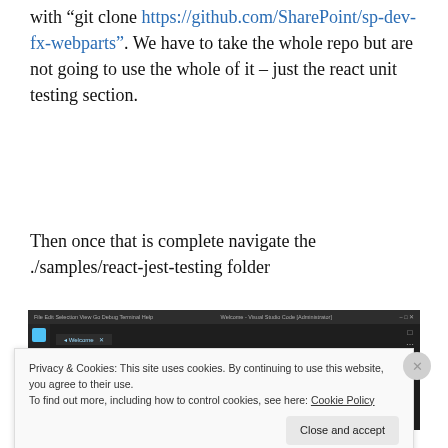with “git clone https://github.com/SharePoint/sp-dev-fx-webparts”. We have to take the whole repo but are not going to use the whole of it – just the react unit testing section.
Then once that is complete navigate the ./samples/react-jest-testing folder
[Figure (screenshot): Visual Studio Code welcome screen showing Start section with links (New file, Open folder, Add workspace folder) and Customize section with Tools and languages option.]
Privacy & Cookies: This site uses cookies. By continuing to use this website, you agree to their use.
To find out more, including how to control cookies, see here: Cookie Policy
Close and accept